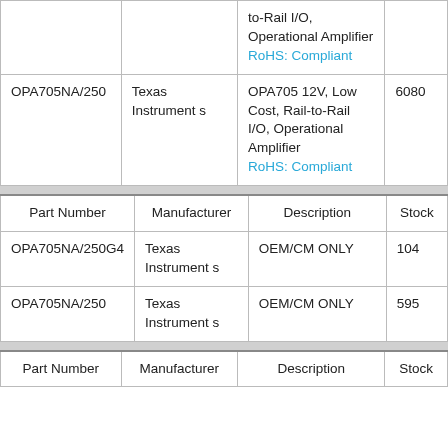| Part Number | Manufacturer | Description | Stock |
| --- | --- | --- | --- |
|  |  | to-Rail I/O, Operational Amplifier
RoHS: Compliant |  |
| OPA705NA/250 | Texas Instruments | OPA705 12V, Low Cost, Rail-to-Rail I/O, Operational Amplifier
RoHS: Compliant | 6080 |
| Part Number | Manufacturer | Description | Stock |
| --- | --- | --- | --- |
| OPA705NA/250G4 | Texas Instruments | OEM/CM ONLY | 104 |
| OPA705NA/250 | Texas Instruments | OEM/CM ONLY | 595 |
| Part Number | Manufacturer | Description | Stock |
| --- | --- | --- | --- |